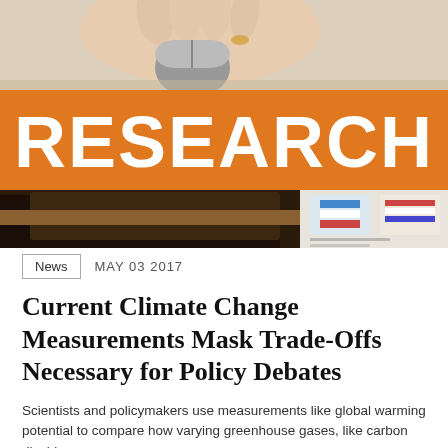[Figure (photo): Photo banner showing a hand near a computer mouse on top, with an orange bar overlaid reading RESEARCH, and documents/papers visible at the bottom]
News   MAY 03 2017
Current Climate Change Measurements Mask Trade-Offs Necessary for Policy Debates
Scientists and policymakers use measurements like global warming potential to compare how varying greenhouse gases, like carbon dioxide...